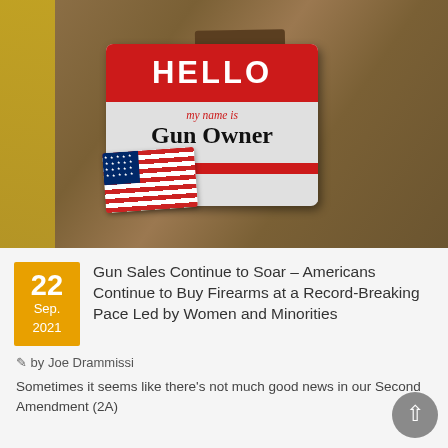[Figure (photo): A 'Hello my name is Gun Owner' name tag sticker with a small American flag sticker attached, pinned to a tan/brown suit jacket lapel. The name tag has a red top section with white bold text 'HELLO', below it in smaller text 'my name is', and in large black font 'Gun Owner'. A red stripe runs across the bottom.]
Gun Sales Continue to Soar – Americans Continue to Buy Firearms at a Record-Breaking Pace Led by Women and Minorities
by Joe Drammissi
Sometimes it seems like there's not much good news in our Second Amendment (2A)